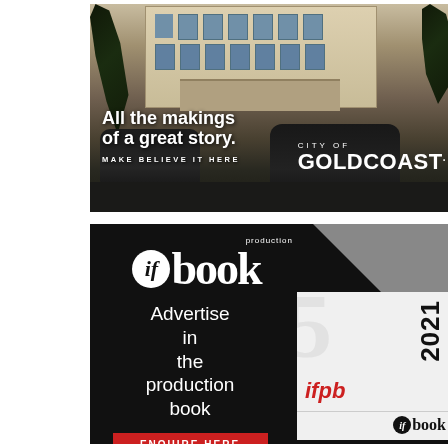[Figure (photo): City of Gold Coast advertisement showing a luxury hotel facade with two black cars parked in front and palm trees. Text overlaid reads 'All the makings of a great story.' with 'MAKE BELIEVE IT HERE' and 'CITY OF GOLDCOAST.' logo.]
[Figure (illustration): IF Production Book advertisement on black background with diagonal grey shape. Logo 'if production book' at top. Text 'Advertise in the production book' with red 'ENQUIRE HERE' button and 'BOOKINGS CLOSE END OF OCTOBER' text. Right side shows book cover with 'ifpb 2021' text.]